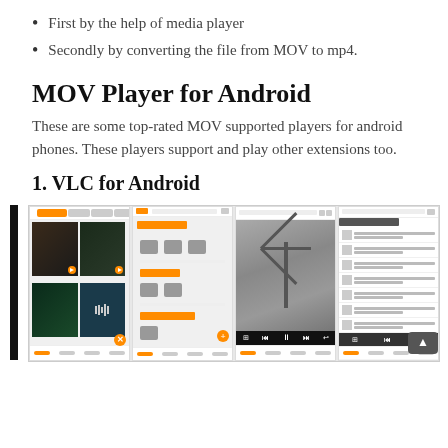First by the help of media player
Secondly by converting the file from MOV to mp4.
MOV Player for Android
These are some top-rated MOV supported players for android phones. These players support and play other extensions too.
1. VLC for Android
[Figure (screenshot): Four screenshots of VLC media player for Android showing the app interface with video thumbnails, folder browser, media player view, and music list view.]